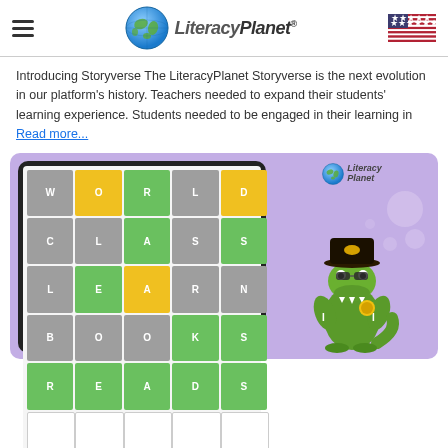LiteracyPlanet® — navigation header with hamburger menu, globe logo, and US flag
Introducing Storyverse The LiteracyPlanet Storyverse is the next evolution in our platform's history. Teachers needed to expand their students' learning experience. Students needed to be engaged in their learning in Read more...
[Figure (screenshot): Screenshot of LiteracyPlanet Storyverse word game on a tablet. The game shows a 5-column word grid with colored tiles (gray, yellow, green) spelling WORLD, CLASS, LEARN, BOOKS, READS, followed by an empty row and a QWERTY keyboard. To the right is a purple panel with the LiteracyPlanet logo and a pirate crocodile mascot character.]